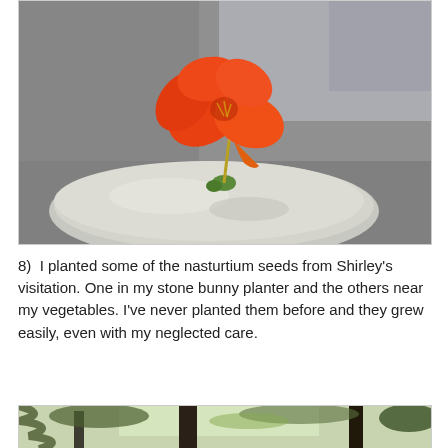[Figure (photo): Close-up photograph of a bright orange nasturtium flower growing on top of a grey stone rock, with blurred grey background]
8)  I planted some of the nasturtium seeds from Shirley's visitation. One in my stone bunny planter and the others near my vegetables. I've never planted them before and they grew easily, even with my neglected care.
[Figure (photo): Partial photograph showing trees and forest vegetation, only top portion visible]